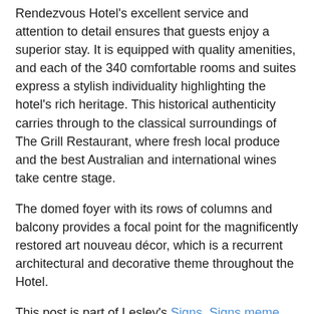Rendezvous Hotel's excellent service and attention to detail ensures that guests enjoy a superior stay. It is equipped with quality amenities, and each of the 340 comfortable rooms and suites express a stylish individuality highlighting the hotel's rich heritage. This historical authenticity carries through to the classical surroundings of The Grill Restaurant, where fresh local produce and the best Australian and international wines take centre stage.
The domed foyer with its rows of columns and balcony provides a focal point for the magnificently restored art nouveau décor, which is a recurrent architectural and decorative theme throughout the Hotel.
This post is part of Lesley's Signs, Signs meme, and also part of Pat's Things in a Row meme.
[Figure (photo): Night-time street photograph showing the Rendezvous Hotel sign illuminated in red and white, a yellow taxi cab in the foreground, and a large historic building with a clock tower visible in the background against a twilight sky with bare trees.]